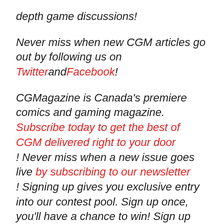depth game discussions!
Never miss when new CGM articles go out by following us on Twitter and Facebook!
CGMagazine is Canada's premiere comics and gaming magazine. Subscribe today to get the best of CGM delivered right to your door ! Never miss when a new issue goes live by subscribing to our newsletter ! Signing up gives you exclusive entry into our contest pool. Sign up once, you'll have a chance to win! Sign up today!